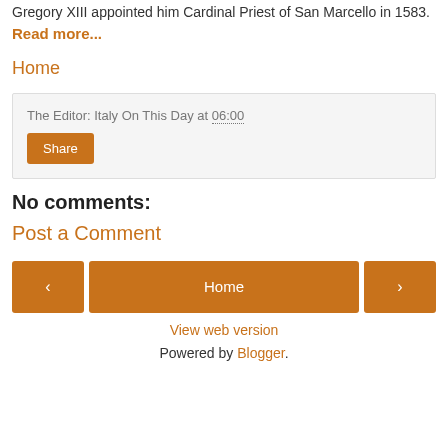Gregory XIII appointed him Cardinal Priest of San Marcello in 1583. Read more...
Home
The Editor: Italy On This Day at 06:00
Share
No comments:
Post a Comment
< Home >
View web version
Powered by Blogger.